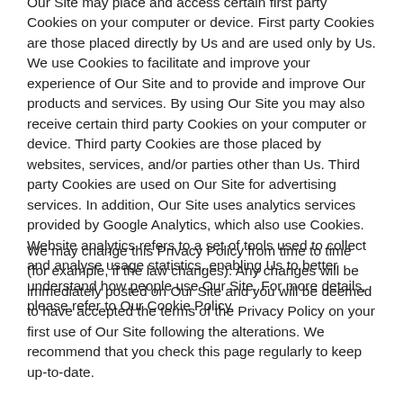Our Site may place and access certain first party Cookies on your computer or device. First party Cookies are those placed directly by Us and are used only by Us. We use Cookies to facilitate and improve your experience of Our Site and to provide and improve Our products and services. By using Our Site you may also receive certain third party Cookies on your computer or device. Third party Cookies are those placed by websites, services, and/or parties other than Us. Third party Cookies are used on Our Site for advertising services. In addition, Our Site uses analytics services provided by Google Analytics, which also use Cookies. Website analytics refers to a set of tools used to collect and analyse usage statistics, enabling Us to better understand how people use Our Site. For more details, please refer to Our Cookie Policy.
We may change this Privacy Policy from time to time (for example, if the law changes). Any changes will be immediately posted on Our Site and you will be deemed to have accepted the terms of the Privacy Policy on your first use of Our Site following the alterations. We recommend that you check this page regularly to keep up-to-date.